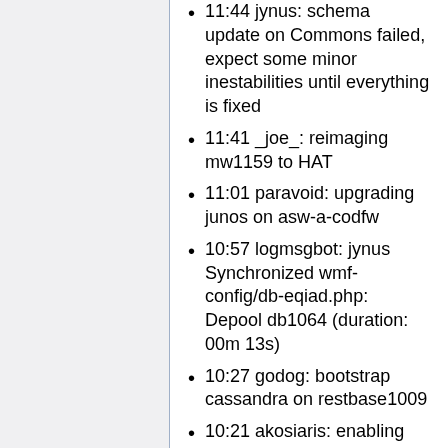11:44 jynus: schema update on Commons failed, expect some minor inestabilities until everything is fixed
11:41 _joe_: reimaging mw1159 to HAT
11:01 paravoid: upgrading junos on asw-a-codfw
10:57 logmsgbot: jynus Synchronized wmf-config/db-eqiad.php: Depool db1064 (duration: 00m 13s)
10:27 godog: bootstrap cassandra on restbase1009
10:21 akosiaris: enabling puppet on tin
09:30 jynus: rolling schema change on image table to all wikis
08:07 logmsgbot: jynus Synchronized wmf-config/db-eqiad.php: Increasing load for